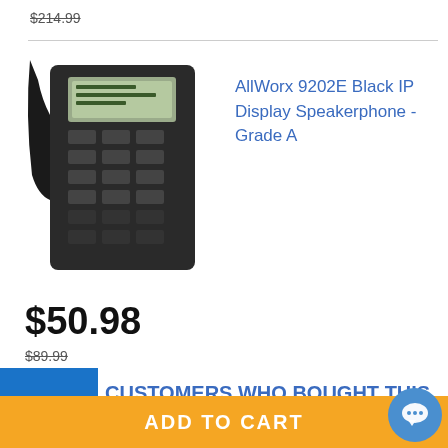$214.99
[Figure (photo): AllWorx 9202E Black IP Display Speakerphone telephone handset, black, with LCD display and keypad]
AllWorx 9202E Black IP Display Speakerphone - Grade A
$50.98
$89.99
CUSTOMERS WHO BOUGHT THIS ITEM ALSO BOUGHT
[Figure (photo): AllWorx 9212L 12-Button Black IP Display Speakerphone telephone partially visible]
AllWorx 9212L 12-Button Black IP Display Speakerphone - Grade A
ADD TO CART